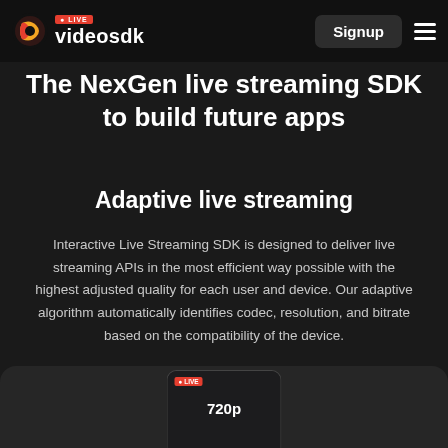videosdk — LIVE — Signup
The NexGen live streaming SDK to build future apps
Adaptive live streaming
Interactive Live Streaming SDK is designed to deliver live streaming APIs in the most efficient way possible with the highest adjusted quality for each user and device. Our adaptive algorithm automatically identifies codec, resolution, and bitrate based on the compatibility of the device.
[Figure (screenshot): Bottom strip showing a phone mockup with a LIVE badge and 720p resolution label, partially cropped at the bottom of the page]